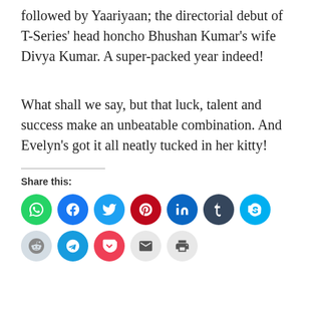followed by Yaariyaan; the directorial debut of T-Series’ head honcho Bhushan Kumar’s wife Divya Kumar. A super-packed year indeed!
What shall we say, but that luck, talent and success make an unbeatable combination. And Evelyn’s got it all neatly tucked in her kitty!
Share this: